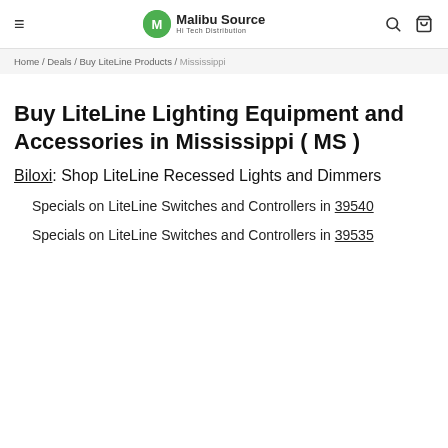≡  Malibu Source Hi Tech Distribution  🔍  🛒
Home / Deals / Buy LiteLine Products / Mississippi
Buy LiteLine Lighting Equipment and Accessories in Mississippi ( MS )
Biloxi: Shop LiteLine Recessed Lights and Dimmers
Specials on LiteLine Switches and Controllers in 39540
Specials on LiteLine Switches and Controllers in 39535